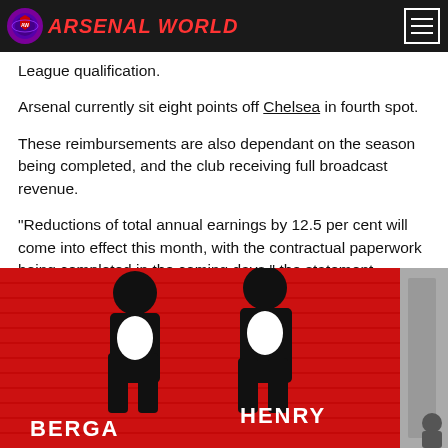ARSENAL WORLD
League qualification.
Arsenal currently sit eight points off Chelsea in fourth spot.
These reimbursements are also dependant on the season being completed, and the club receiving full broadcast revenue.
"Reductions of total annual earnings by 12.5 per cent will come into effect this month, with the contractual paperwork being completed in the coming days," the statement continued.
[Figure (photo): A red metal roller shutter door with a mural showing two football player silhouettes in black and white. Text visible includes 'BERGA' on the left and 'HENRY' on the right. A person is partially visible on the far right.]